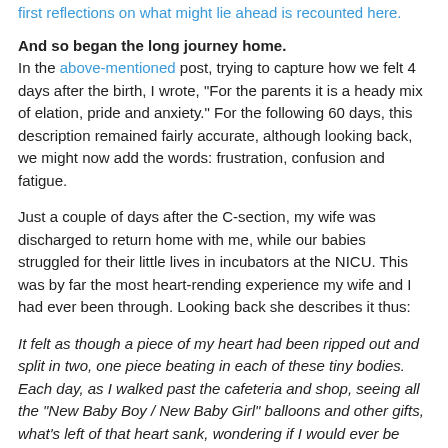first reflections on what might lie ahead is recounted here.
And so began the long journey home.
In the above-mentioned post, trying to capture how we felt 4 days after the birth, I wrote, “For the parents it is a heady mix of elation, pride and anxiety.” For the following 60 days, this description remained fairly accurate, although looking back, we might now add the words: frustration, confusion and fatigue.
Just a couple of days after the C-section, my wife was discharged to return home with me, while our babies struggled for their little lives in incubators at the NICU. This was by far the most heart-rending experience my wife and I had ever been through. Looking back she describes it thus:
It felt as though a piece of my heart had been ripped out and split in two, one piece beating in each of these tiny bodies. Each day, as I walked past the cafeteria and shop, seeing all the “New Baby Boy / New Baby Girl” balloons and other gifts, what’s left of that heart sank, wondering if I would ever be able to celebrate this birth like a normal mother. At that time, I couldn’t even hold them.
Certainly for the first week, while her body was recovering from the shock of major surgery, these emotions weren’t helped by the fact that